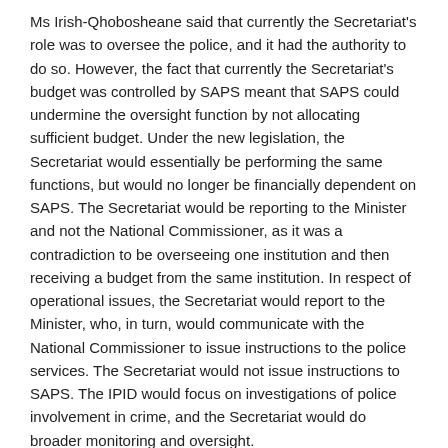Ms Irish-Qhobosheane said that currently the Secretariat's role was to oversee the police, and it had the authority to do so. However, the fact that currently the Secretariat's budget was controlled by SAPS meant that SAPS could undermine the oversight function by not allocating sufficient budget. Under the new legislation, the Secretariat would essentially be performing the same functions, but would no longer be financially dependent on SAPS. The Secretariat would be reporting to the Minister and not the National Commissioner, as it was a contradiction to be overseeing one institution and then receiving a budget from the same institution. In respect of operational issues, the Secretariat would report to the Minister, who, in turn, would communicate with the National Commissioner to issue instructions to the police services. The Secretariat would not issue instructions to SAPS. The IPID would focus on investigations of police involvement in crime, and the Secretariat would do broader monitoring and oversight.
Ms Irish-Qhobosheane said that the reason why the Secretariat was taking over the monitoring of the Domestic Violence Act was that the ICD had performed that function, but it would no longer exist. It was therefore to be transferred to the new Secretariat.